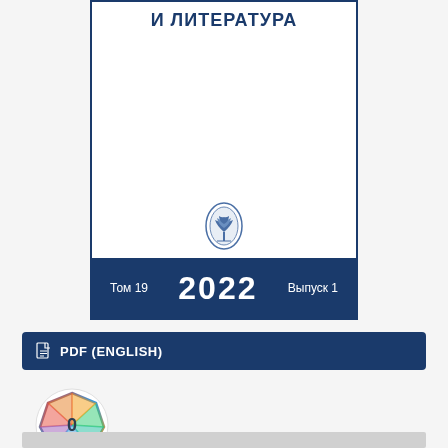[Figure (illustration): Journal cover with title 'И ЛИТЕРАТУРА', year 2022, volume 19, issue 1, with university emblem, dark blue border and bottom bar]
PDF (ENGLISH)
[Figure (illustration): Colorful polygonal badge/gem shape with number 0 inside]